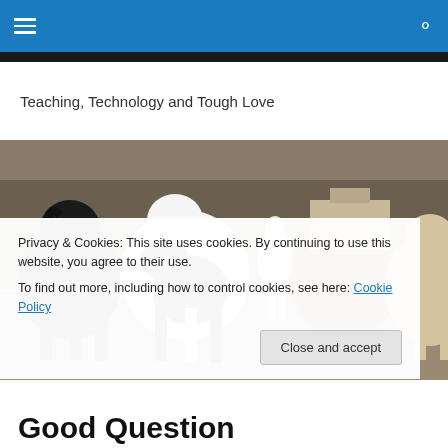Navigation bar with hamburger menu and search icon
Teaching, Technology and Tough Love
[Figure (photo): Four horses standing in a fenced pasture area — a black horse, a black-and-white paint horse, a brown horse, and a light tan/cream horse — with trees and a building visible in the background.]
Privacy & Cookies: This site uses cookies. By continuing to use this website, you agree to their use.
To find out more, including how to control cookies, see here: Cookie Policy
Good Question